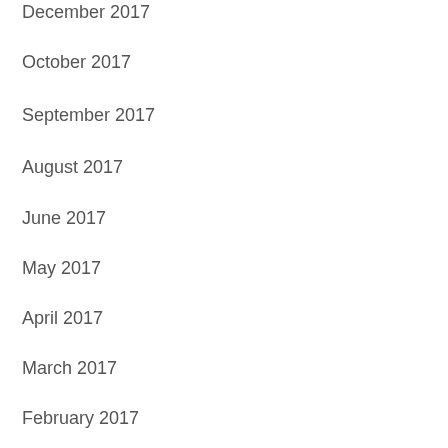December 2017
October 2017
September 2017
August 2017
June 2017
May 2017
April 2017
March 2017
February 2017